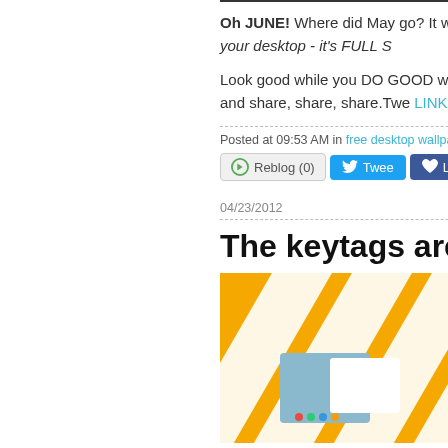Oh JUNE! Where did May go? It was so... the free desktop wallpaper! Here is the b... click + save to your desktop - it's FULL S...
Look good while you DO GOOD with this awesomeness of the Stendig Helvetica c... free update and share, share, share. Twe... LINKwithlove.org KEY TAGS ARE BAC...
Posted at 09:53 AM in free desktop wallpaper | Perm...
04/23/2012
The keytags are back
[Figure (photo): Keytags on an orange and white chevron striped background with a blue card and colorful dots visible]